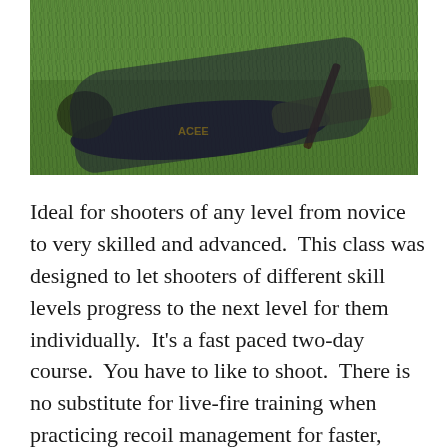[Figure (photo): A person in camouflage pants and a dark jacket with a helmet, lying on their back on green grass in a shooting position with disadvantage positioning drill.]
Ideal for shooters of any level from novice to very skilled and advanced.  This class was designed to let shooters of different skill levels progress to the next level for them individually.  It's a fast paced two-day course.  You have to like to shoot.  There is no substitute for live-fire training when practicing recoil management for faster, more accurate shots.  Positions of disadvantage are also covered…shooting on your back and side to upside down on the ground.  Students train to deal with the circumstances no matter where they find themselves.  This is where you find the blend of speed and accuracy that works for you to make the shot you are trying to make